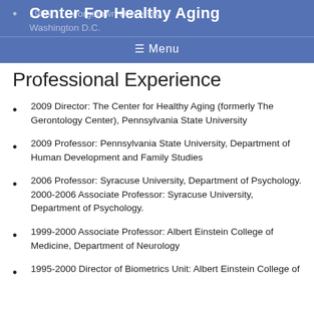Center For Healthy Aging
☰ Menu
1986 … Georgetown University, Washington D.C.
Professional Experience
2009 Director: The Center for Healthy Aging (formerly The Gerontology Center), Pennsylvania State University
2009 Professor: Pennsylvania State University, Department of Human Development and Family Studies
2006 Professor: Syracuse University, Department of Psychology. 2000-2006 Associate Professor: Syracuse University, Department of Psychology.
1999-2000 Associate Professor: Albert Einstein College of Medicine, Department of Neurology
1995-2000 Director of Biometrics Unit: Albert Einstein College of